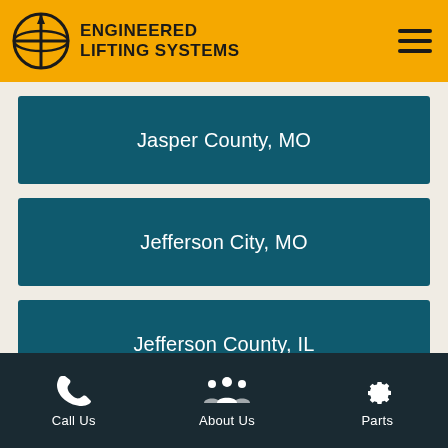ENGINEERED LIFTING SYSTEMS
Jasper County, MO
Jefferson City, MO
Jefferson County, IL
Jefferson County, MO
Joplin, MO
Call Us  About Us  Parts